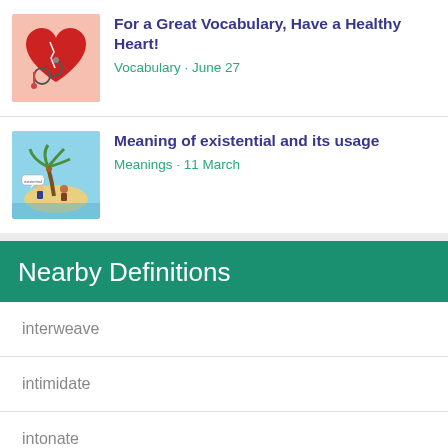[Figure (illustration): Red heart with stethoscope thumbnail image]
For a Great Vocabulary, Have a Healthy Heart!
Vocabulary • June 27
[Figure (illustration): Cartoon island with palm tree and two people thumbnail]
Meaning of existential and its usage
Meanings • 11 March
Nearby Definitions
interweave
intimidate
intonate
intone